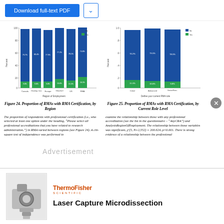Download full-text PDF
[Figure (stacked-bar-chart): Stacked bar chart showing proportion of RMAs with RMA Certification by region of employment. Blue and green segments represent different certification categories.]
Figure 24. Proportion of RMAs with RMA Certification, by Region
[Figure (stacked-bar-chart): Stacked bar chart showing proportion of RMAs with RMA Certification by current role level. Blue and green segments.]
Figure 25. Proportion of RMAs with RMA Certification, by Current Role Level
The proportion of respondents with professional certification (i.e., who selected at least one option under the heading, "Please select all professional accreditations that you have related to research administration.") in RMA varied between regions (see Figure 24). A chi-square test of independence was performed to
examine the relationship between those with any professional accreditation (see the list in the questionnaire - "AnyCRA") and AnalysisRegionOfEmployment. The relationship between those variables was significant, χ²(5, N=2,552) = 200.624, p<0.001. There is strong evidence of a relationship between the professional
[Figure (illustration): Advertisement overlay text]
[Figure (photo): Thermo Fisher Scientific Laser Capture Microdissection instrument advertisement. Shows a laboratory instrument photo with ThermoFisher Scientific logo and headline Laser Capture Microdissection.]